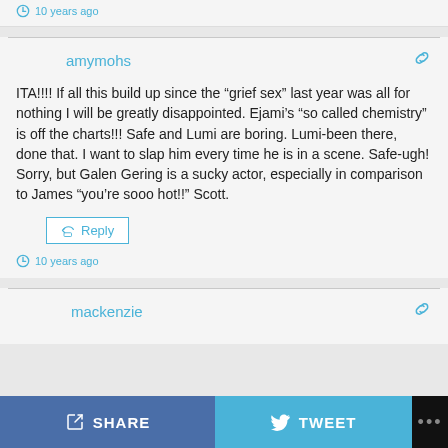10 years ago
amymohs
ITA!!!! If all this build up since the “grief sex” last year was all for nothing I will be greatly disappointed. Ejami’s “so called chemistry” is off the charts!!! Safe and Lumi are boring. Lumi-been there, done that. I want to slap him every time he is in a scene. Safe-ugh! Sorry, but Galen Gering is a sucky actor, especially in comparison to James “you’re sooo hot!!” Scott.
Reply
10 years ago
mackenzie
SHARE
TWEET